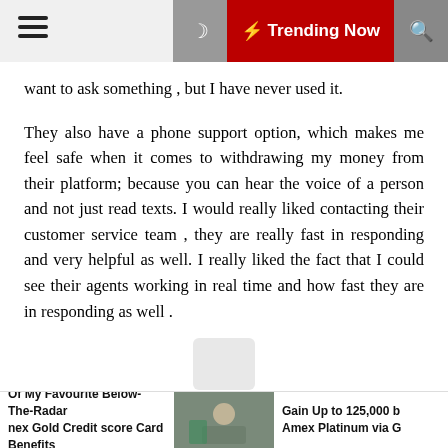Trending Now
want to ask something , but I have never used it.
They also have a phone support option, which makes me feel safe when it comes to withdrawing my money from their platform; because you can hear the voice of a person and not just read texts. I would really liked contacting their customer service team , they are really fast in responding and very helpful as well. I really liked the fact that I could see their agents working in real time and how fast they are in responding as well .
Education Material:
There weren't a lot of educational material for me to learn more about Forex trading; but there were PDF's on
Of My Favourite Below-The-Radar nex Gold Credit score Card Benefits | Gain Up to 125,000 Amex Platinum via